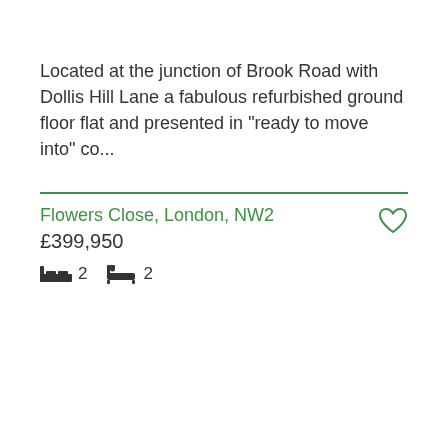Located at the junction of Brook Road with Dollis Hill Lane a fabulous refurbished ground floor flat and presented in "ready to move into" co...
Flowers Close, London, NW2
£399,950
2 bedrooms, 2 bathrooms